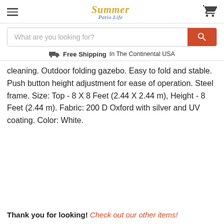Summer Patio Life
What are you looking for?
Free Shipping In The Continental USA
cleaning. Outdoor folding gazebo. Easy to fold and stable. Push button height adjustment for ease of operation. Steel frame. Size: Top - 8 X 8 Feet (2.44 X 2.44 m), Height - 8 Feet (2.44 m). Fabric: 200 D Oxford with silver and UV coating. Color: White.
Thank you for looking! Check out our other items!